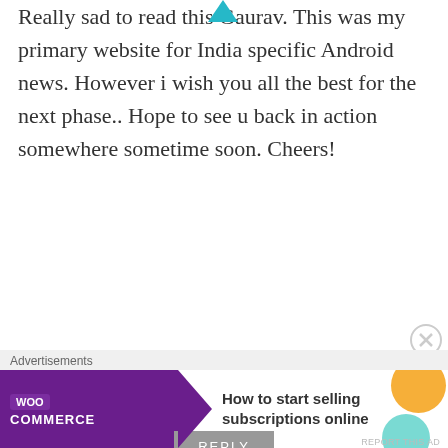Really sad to read this Gaurav. This was my primary website for India specific Android news. However i wish you all the best for the next phase.. Hope to see u back in action somewhere sometime soon. Cheers!
★ Like
REPLY
Dheeraj
JUNE 15, 2015 AT 12:40 PM
[Figure (logo): WooCommerce advertisement banner: purple WooCommerce logo with teal arrow and text 'How to start selling subscriptions online']
Advertisements